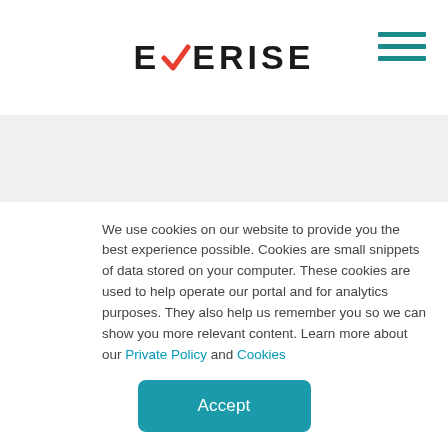[Figure (logo): Everise logo with a red/orange checkmark replacing the V in EVERISE, and a teal hamburger menu icon on the right]
Recent Posts
What’s good for the employees is also good for the company (and our clients).
We use cookies on our website to provide you the best experience possible. Cookies are small snippets of data stored on your computer. These cookies are used to help operate our portal and for analytics purposes. They also help us remember you so we can show you more relevant content. Learn more about our Private Policy and Cookies
Accept